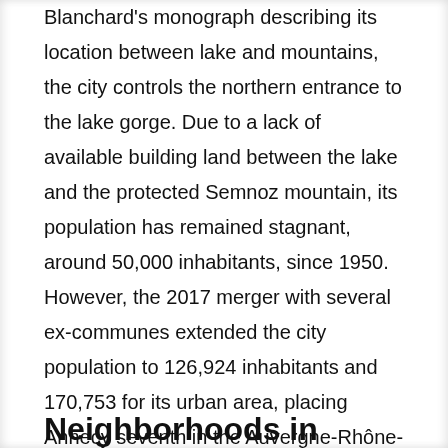Blanchard's monograph describing its location between lake and mountains, the city controls the northern entrance to the lake gorge. Due to a lack of available building land between the lake and the protected Semnoz mountain, its population has remained stagnant, around 50,000 inhabitants, since 1950. However, the 2017 merger with several ex-communes extended the city population to 126,924 inhabitants and 170,753 for its urban area, placing Annecy seventh in the Auvergne-Rhône-Alpes region.
Neighborhoods in